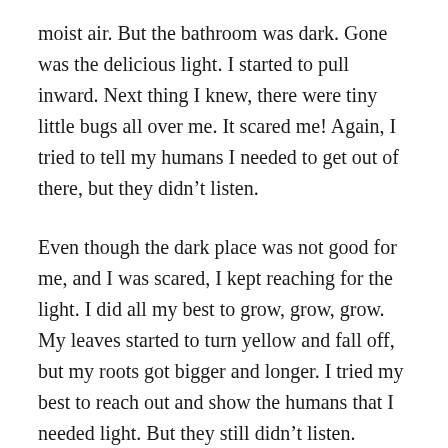moist air. But the bathroom was dark. Gone was the delicious light. I started to pull inward. Next thing I knew, there were tiny little bugs all over me. It scared me! Again, I tried to tell my humans I needed to get out of there, but they didn't listen.
Even though the dark place was not good for me, and I was scared, I kept reaching for the light. I did all my best to grow, grow, grow. My leaves started to turn yellow and fall off, but my roots got bigger and longer. I tried my best to reach out and show the humans that I needed light. But they still didn't listen.
Finally, after the bugs wouldn't go away, the woman moved me out of the bathroom and back downstairs. I was so excited. I almost dropped a leaf just to show her.